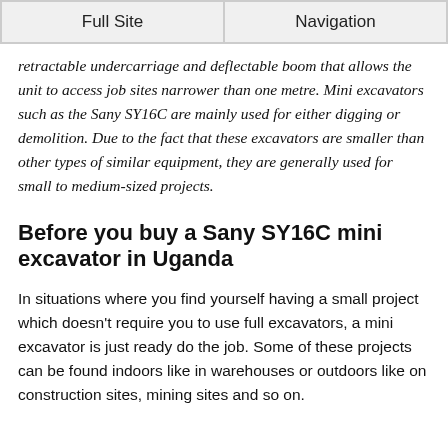Full Site | Navigation
retractable undercarriage and deflectable boom that allows the unit to access job sites narrower than one metre. Mini excavators such as the Sany SY16C are mainly used for either digging or demolition. Due to the fact that these excavators are smaller than other types of similar equipment, they are generally used for small to medium-sized projects.
Before you buy a Sany SY16C mini excavator in Uganda
In situations where you find yourself having a small project which doesn't require you to use full excavators, a mini excavator is just ready do the job. Some of these projects can be found indoors like in warehouses or outdoors like on construction sites, mining sites and so on.